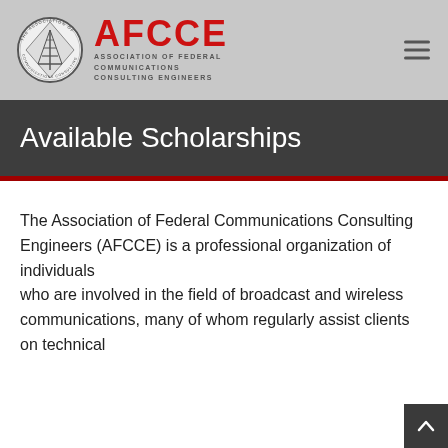[Figure (logo): AFCCE logo: circular emblem with antenna tower, red AFCCE text, subtitle 'ASSOCIATION OF FEDERAL COMMUNICATIONS CONSULTING ENGINEERS']
Available Scholarships
The Association of Federal Communications Consulting Engineers (AFCCE) is a professional organization of individuals who are involved in the field of broadcast and wireless communications, many of whom regularly assist clients on technical issues before the Federal Communications Commission (FCC).